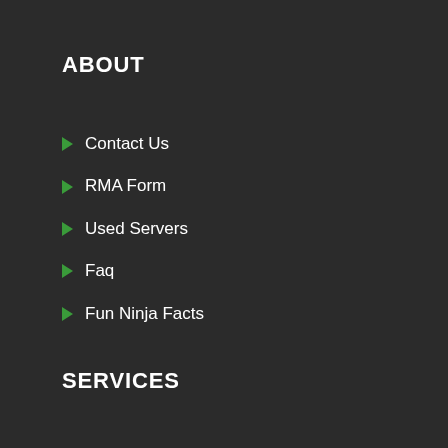ABOUT
Contact Us
RMA Form
Used Servers
Faq
Fun Ninja Facts
SERVICES
Hard Drive Services
Spare Parts Management
Asset Recovery
Shortage Fulfillment